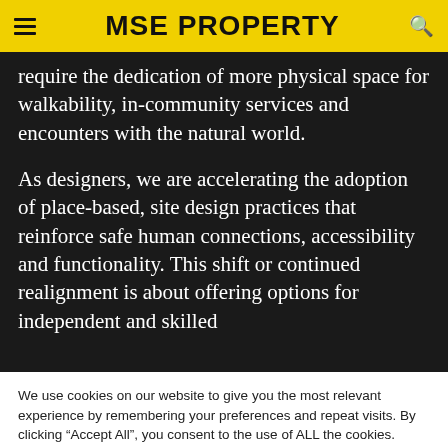MSE PROPERTY
require the dedication of more physical space for walkability, in-community services and encounters with the natural world.
As designers, we are accelerating the adoption of place-based, site design practices that reinforce safe human connections, accessibility and functionality. This shift or continued realignment is about offering options for independent and skilled
We use cookies on our website to give you the most relevant experience by remembering your preferences and repeat visits. By clicking “Accept All”, you consent to the use of ALL the cookies. However, you may visit "Cookie Settings" to provide a controlled consent.
Cookie Settings
Accept All